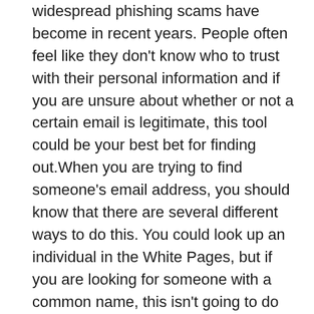widespread phishing scams have become in recent years. People often feel like they don't know who to trust with their personal information and if you are unsure about whether or not a certain email is legitimate, this tool could be your best bet for finding out.When you are trying to find someone's email address, you should know that there are several different ways to do this. You could look up an individual in the White Pages, but if you are looking for someone with a common name, this isn't going to do much for you.
Another option is to look up their email address in an email forwarding service, but this can be a time-consuming process that may not yield the results that you need. The best option is to use a reverse email lookup service, which will allow you to find any email address on the internet within a matter of seconds. The process is simple, and all